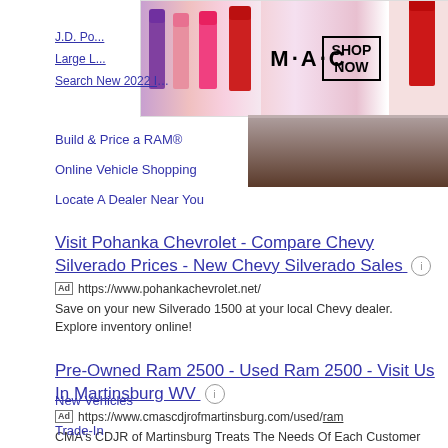[Figure (photo): MAC Cosmetics advertisement banner with lipsticks in purple, pink, and red, MAC logo, and SHOP NOW box]
J.D. Po...
Large L...
Search New 2022 Inventory
Build & Price a RAM®
Online Vehicle Shopping
Locate A Dealer Near You
[Figure (photo): Dark brown background image on right side]
Visit Pohanka Chevrolet - Compare Chevy Silverado Prices - New Chevy Silverado Sales
Ad https://www.pohankachevrolet.net/
Save on your new Silverado 1500 at your local Chevy dealer. Explore inventory online!
Pre-Owned Ram 2500 - Used Ram 2500 - Visit Us In Martinsburg WV
Ad https://www.cmascdjrofmartinsburg.com/used/ram
CMA's CDJR of Martinsburg Treats The Needs Of Each Customer With Paramount Concern
New Vehicles
Trade-In